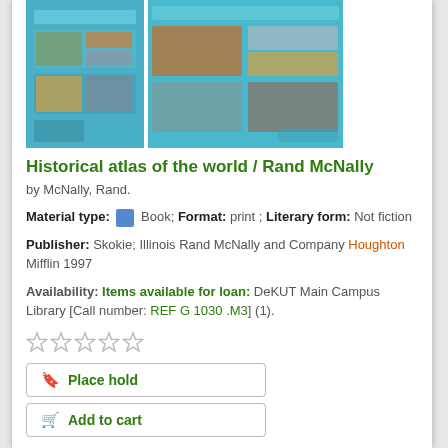[Figure (photo): Book covers for Historical atlas of the world by Rand McNally — two cover images side by side showing teal/blue atlas covers with map imagery]
Historical atlas of the world / Rand McNally
by McNally, Rand.
Material type: [Book icon] Book; Format: print ; Literary form: Not fiction
Publisher: Skokie; Illinois Rand McNally and Company Houghton Mifflin 1997
Availability: Items available for loan: DeKUT Main Campus Library [Call number: REF G 1030 .M3] (1).
[Figure (other): Five empty star rating icons (unrated)]
Place hold
Add to cart
[Figure (photo): Book cover for Environmental and Natural Resource Economics — dark blue cover with green imagery]